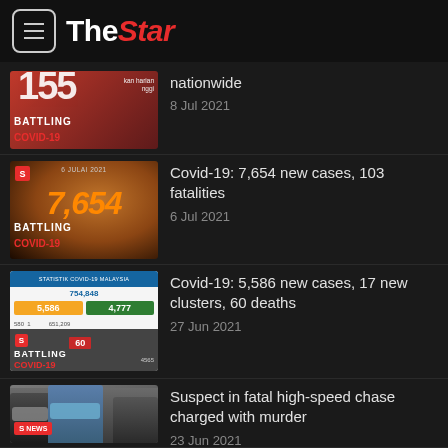The Star
[Figure (screenshot): Covid-19 battling thumbnail with large red number, partially cut off]
nationwide
8 Jul 2021
[Figure (screenshot): Covid-19 battling thumbnail showing 7,654 in orange]
Covid-19: 7,654 new cases, 103 fatalities
6 Jul 2021
[Figure (screenshot): Covid-19 stats infographic showing 5,586 new cases, 4,777 recoveries, 60 deaths]
Covid-19: 5,586 new cases, 17 new clusters, 60 deaths
27 Jun 2021
[Figure (photo): Photo of masked men in front of a building, news badge]
Suspect in fatal high-speed chase charged with murder
23 Jun 2021
[Figure (screenshot): Covid-19 stats infographic showing 4,611 new cases, partial view]
Covid-19: 4,611 new cases as total